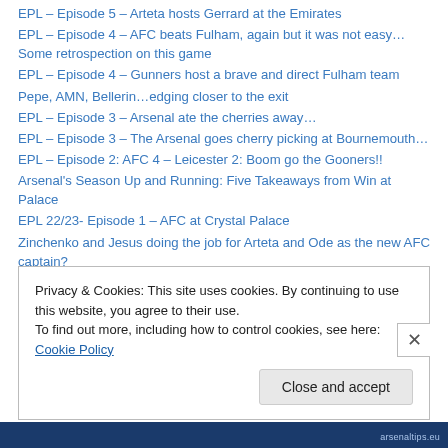EPL – Episode 5 – Arteta hosts Gerrard at the Emirates
EPL – Episode 4 – AFC beats Fulham, again but it was not easy…Some retrospection on this game
EPL – Episode 4 – Gunners host a brave and direct Fulham team
Pepe, AMN, Bellerin…edging closer to the exit
EPL – Episode 3 – Arsenal ate the cherries away…
EPL – Episode 3 – The Arsenal goes cherry picking at Bournemouth…
EPL – Episode 2: AFC 4 – Leicester 2: Boom go the Gooners!!
Arsenal's Season Up and Running: Five Takeaways from Win at Palace
EPL 22/23- Episode 1 – AFC at Crystal Palace
Zinchenko and Jesus doing the job for Arteta and Ode as the new AFC captain?
Privacy & Cookies: This site uses cookies. By continuing to use this website, you agree to their use. To find out more, including how to control cookies, see here: Cookie Policy
Close and accept
arsenaltips.eu